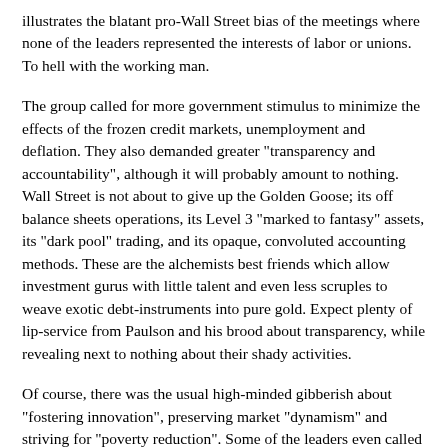illustrates the blatant pro-Wall Street bias of the meetings where none of the leaders represented the interests of labor or unions. To hell with the working man.
The group called for more government stimulus to minimize the effects of the frozen credit markets, unemployment and deflation. They also demanded greater "transparency and accountability", although it will probably amount to nothing. Wall Street is not about to give up the Golden Goose; its off balance sheets operations, its Level 3 "marked to fantasy" assets, its "dark pool" trading, and its opaque, convoluted accounting methods. These are the alchemists best friends which allow investment gurus with little talent and even less scruples to weave exotic debt-instruments into pure gold. Expect plenty of lip-service from Paulson and his brood about transparency, while revealing next to nothing about their shady activities.
Of course, there was the usual high-minded gibberish about "fostering innovation", preserving market "dynamism" and striving for "poverty reduction". Some of the leaders even called for the creation of "supervisory colleges" for bank regulators and limits on executive pay to "avoid excessive risk-taking." (Oh, please) It's a wonder that the developing nations, many of whom have been the victims of the IMF's heavy-handed policies, would allow this type capitalist claptrap to be inserted into the final